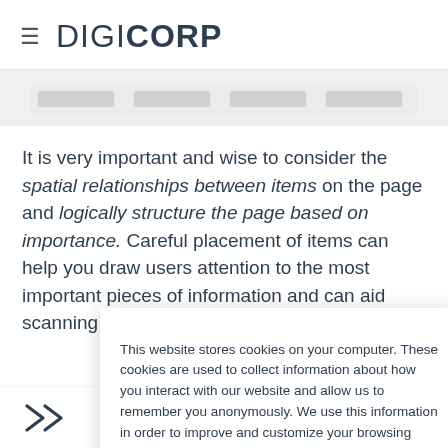≡ DIGICORP
[Figure (screenshot): Partial screenshot showing four gray placeholder content blocks in a row on a light gray background]
It is very important and wise to consider the spatial relationships between items on the page and logically structure the page based on importance. Careful placement of items can help you draw users attention to the most important pieces of information and can aid scanning and
This website stores cookies on your computer. These cookies are used to collect information about how you interact with our website and allow us to remember you anonymously. We use this information in order to improve and customize your browsing experience and for analytics and metrics about our visitors both on this website and other media. To find out more about the cookies we use, see our Privacy Policy.
Accept
[Figure (illustration): Share/forward icon (double right-pointing arrows) in bottom-left corner]